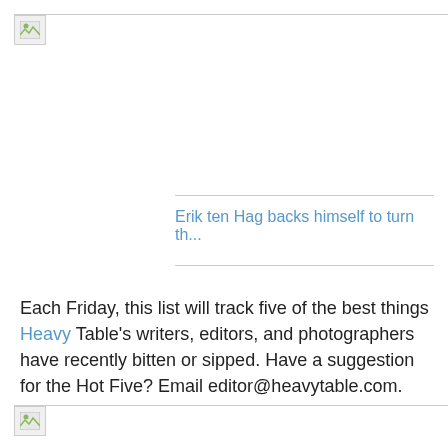[Figure (other): Broken image placeholder at top of page]
Erik ten Hag backs himself to turn th...
Each Friday, this list will track five of the best things Heavy Table's writers, editors, and photographers have recently bitten or sipped. Have a suggestion for the Hot Five? Email editor@heavytable.com.
[Figure (other): Broken image placeholder at bottom of page]